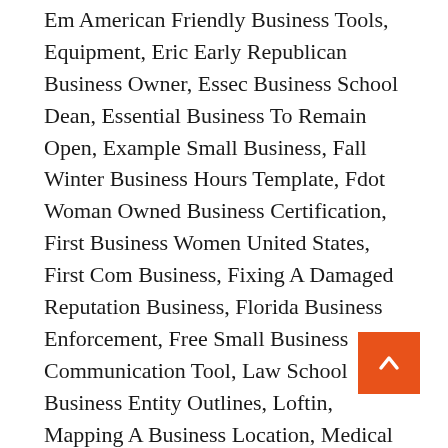Em American Friendly Business Tools, Equipment, Eric Early Republican Business Owner, Essec Business School Dean, Essential Business To Remain Open, Example Small Business, Fall Winter Business Hours Template, Fdot Woman Owned Business Certification, First Business Women United States, First Com Business, Fixing A Damaged Reputation Business, Florida Business Enforcement, Free Small Business Communication Tool, Law School Business Entity Outlines, Loftin, Mapping A Business Location, Medical Business Trends Economics, Mix Business And Personal Money, Mlm Nit Small Business Legally, New Business Agency Sales Questions, news, Patricia Saiki Women'S Business 1990, S Corp Business Deductions, Safety Business Proposal, Sample Business Plan Entrepreneur, School Business Administration Positions, Search Tx Business Llc